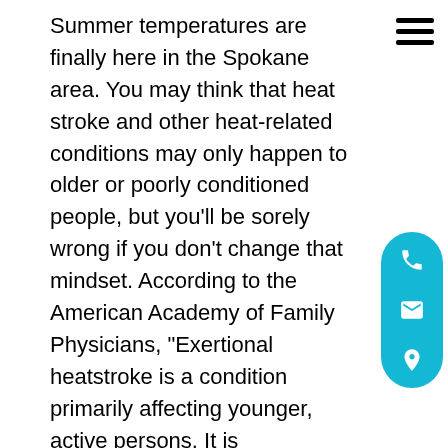Summer temperatures are finally here in the Spokane area. You may think that heat stroke and other heat-related conditions may only happen to older or poorly conditioned people, but you'll be sorely wrong if you don't change that mindset. According to the American Academy of Family Physicians, "Exertional heatstroke is a condition primarily affecting younger, active persons. It is characterized by rapid onset- developing in hours - and frequently is associated with high core temperatures." Heat stroke can also creep up on a person over the course of several days. Conditions accumulate and create a perfect storm inside our body.

Heat exhaustion occurs when the body's temperature control system is overloaded. Many factors can lead to this and a person can experience it even if their body temperature is only slightly above normal. The